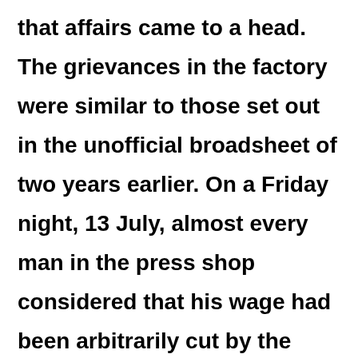that affairs came to a head. The grievances in the factory were similar to those set out in the unofficial broadsheet of two years earlier. On a Friday night, 13 July, almost every man in the press shop considered that his wage had been arbitrarily cut by the management.  When the management failed to meet the workers by the following Monday, the